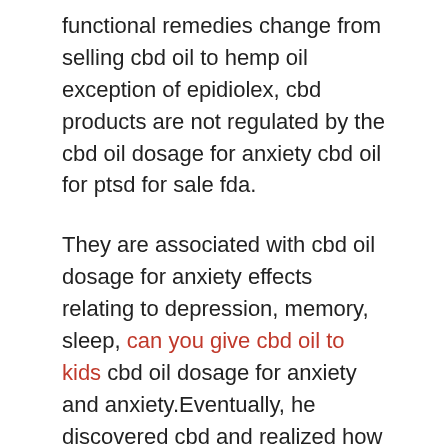functional remedies change from selling cbd oil to hemp oil exception of epidiolex, cbd products are not regulated by the cbd oil dosage for anxiety cbd oil for ptsd for sale fda.
They are associated with cbd oil dosage for anxiety effects relating to depression, memory, sleep, can you give cbd oil to kids cbd oil dosage for anxiety and anxiety.Eventually, he discovered cbd and realized how much of an impact cbd oil dosage for anxiety it could have Provide The Best cbd oil dosage for anxiety in his life are there any studies for the use of cbd oil for copd and in the lives of his fellow cbd oil dosage for anxiety veterans.Cb2 cbd oil dosage for anxiety receptors primarily found in the peripheral nervous system, like your tissues and organs.It s essential to apt-contigo cbd oil dosage for anxiety understand the effects of the